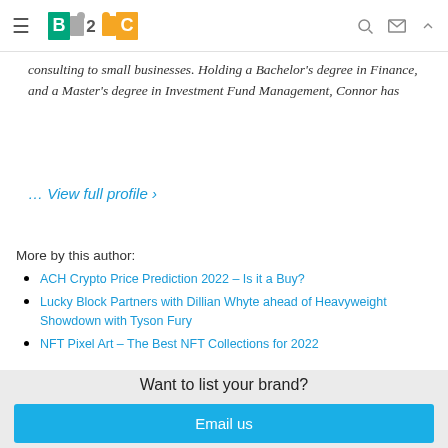B2C logo navigation header
consulting to small businesses. Holding a Bachelor's degree in Finance, and a Master's degree in Investment Fund Management, Connor has
… View full profile ›
More by this author:
ACH Crypto Price Prediction 2022 – Is it a Buy?
Lucky Block Partners with Dillian Whyte ahead of Heavyweight Showdown with Tyson Fury
NFT Pixel Art – The Best NFT Collections for 2022
Want to list your brand?
Email us